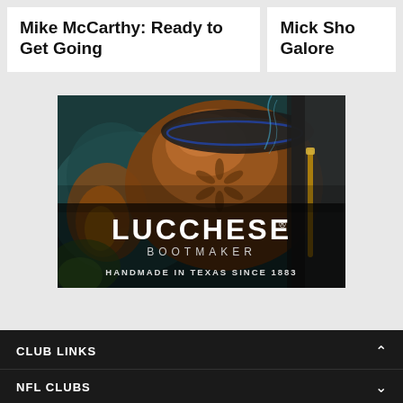Mike McCarthy: Ready to Get Going
Mick Sho Galore
[Figure (photo): Lucchese Bootmaker advertisement showing a close-up of a brown leather cowboy boot with the text LUCCHESE® BOOTMAKER HANDMADE IN TEXAS SINCE 1883]
CLUB LINKS
NFL CLUBS